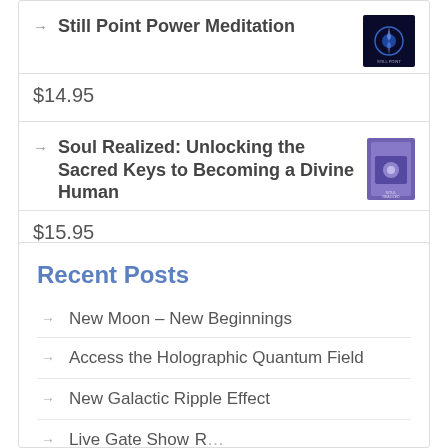→ Still Point Power Meditation
$14.95
→ Soul Realized: Unlocking the Sacred Keys to Becoming a Divine Human
$15.95
Recent Posts
→ New Moon – New Beginnings
→ Access the Holographic Quantum Field
→ New Galactic Ripple Effect
→ Live Gate Show R…